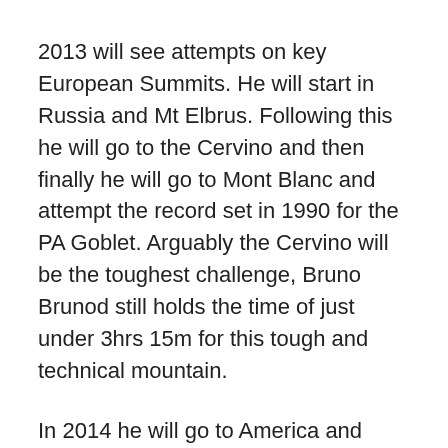2013 will see attempts on key European Summits. He will start in Russia and Mt Elbrus. Following this he will go to the Cervino and then finally he will go to Mont Blanc and attempt the record set in 1990 for the PA Goblet. Arguably the Cervino will be the toughest challenge, Bruno Brunod still holds the time of just under 3hrs 15m for this tough and technical mountain.
In 2014 he will go to America and attempt two high peaks, one in the North and one in the South. In the north he will attempt McKinley and in the south he will attempt Aconcagua in South America.
The culmination of this ambitious project will be in 2015.
As you can imagine, if you are going to finish a project like this, you may as well finish on a high! Yes, the highest